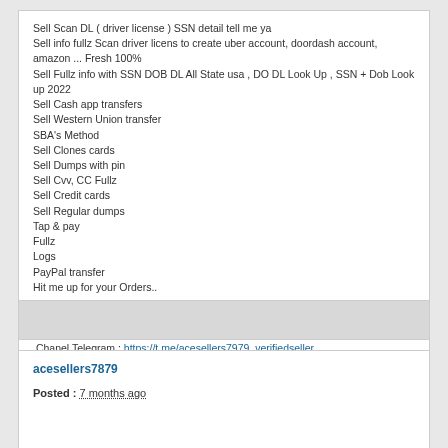Sell Scan DL ( driver license ) SSN detail tell me ya
Sell info fullz Scan driver licens to create uber account, doordash account, amazon ... Fresh 100%
Sell Fullz info with SSN DOB DL All State usa , DO DL Look Up , SSN + Dob Look up 2022
Sell Cash app transfers
Sell Western Union transfer
SBA's Method
Sell Clones cards
Sell Dumps with pin
Sell Cvv, CC Fullz
Sell Credit cards
Sell Regular dumps
Tap & pay
Fullz
Logs
PayPal transfer
Hit me up for your Orders..

.Contact support ICQ: 748441620
.Whatsapp : +84935462769
.Chanel Telegram : https://t.me/acesellers7979_verifiedseller
.Telegram : https://t.me/acesellers7979
Warning !!!
Someone is impersonating me.Be careful. i'm Username @Acesellers7979 (telegarm) Not Acesellers79797 or Aceseller7979 or Acesellers797979
A lot of customers have been cheated
acesellers7879
Posted : 7 months ago